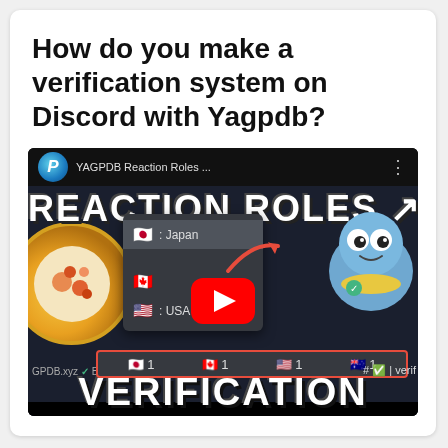How do you make a verification system on Discord with Yagpdb?
[Figure (screenshot): YouTube video thumbnail/embed showing YAGPDB Reaction Roles tutorial with text 'REACTION ROLES' and 'VERIFICATION', flags for Japan, Canada, USA, Australia, a YouTube play button, and a Discord-style bot interface with a blue cartoon character.]